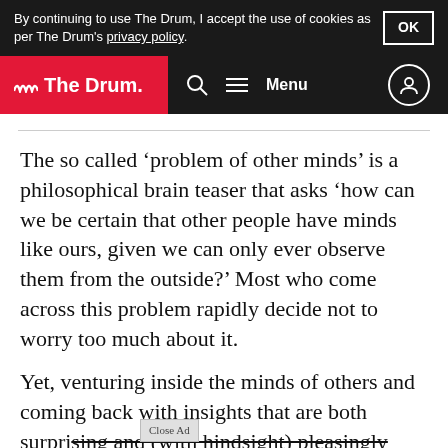By continuing to use The Drum, I accept the use of cookies as per The Drum's privacy policy. OK
[Figure (logo): The Drum website navigation bar with logo, search icon, menu, and user icon]
The so called ‘problem of other minds’ is a philosophical brain teaser that asks ‘how can we be certain that other people have minds like ours, given we can only ever observe them from the outside?’ Most who come across this problem rapidly decide not to worry too much about it.
Yet, venturing inside the minds of others and coming back with insights that are both surprising and (with hindsight) pleasingly obvious – is th
[Figure (screenshot): T-Mobile Advertising Solutions ad banner: APPS SPEAK LOUDER THAN WORDS with close ad button and X button]